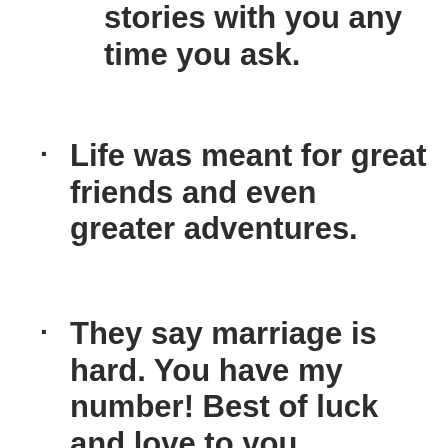stories with you any time you ask.
Life was meant for great friends and even greater adventures.
They say marriage is hard. You have my number! Best of luck and love to you.